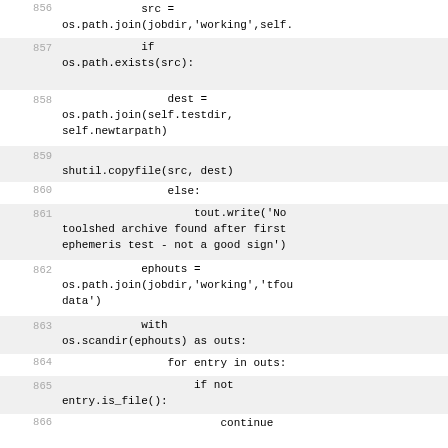Code snippet lines 856-870, Python source code
856: src = os.path.join(jobdir,'working',self.
857: if os.path.exists(src):
858: dest = os.path.join(self.testdir, self.newtarpath)
859: shutil.copyfile(src, dest)
860: else:
861: tout.write('No toolshed archive found after first ephemeris test - not a good sign')
862: ephouts = os.path.join(jobdir,'working','tfou data')
863: with os.scandir(ephouts) as outs:
864: for entry in outs:
865: if not entry.is_file():
866: continue
867: dest = os.path.join(self.tooloutdir, entry.name)
868: src = os.path.join(ephouts, entry.name)
869: shutil.copyfile(src, dest)
870: else: